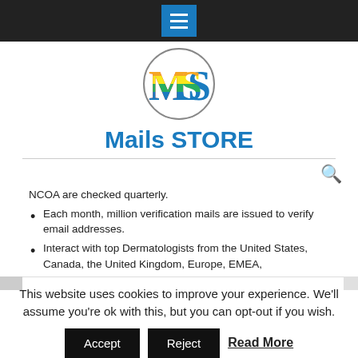[Figure (logo): Navigation bar with hamburger menu button (blue square with three white lines) on dark background]
[Figure (logo): MS logo in a circle with rainbow-colored letters M and S]
Mails STORE
NCOA are checked quarterly.
Each month, million verification mails are issued to verify email addresses.
Interact with top Dermatologists from the United States, Canada, the United Kingdom, Europe, EMEA,
This website uses cookies to improve your experience. We'll assume you're ok with this, but you can opt-out if you wish.
Accept   Reject   Read More